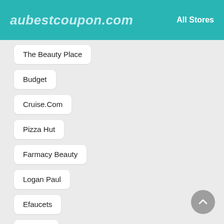aubestcoupon.com   All Stores
The Beauty Place
Budget
Cruise.Com
Pizza Hut
Farmacy Beauty
Logan Paul
Efaucets
Minerva
Protein World